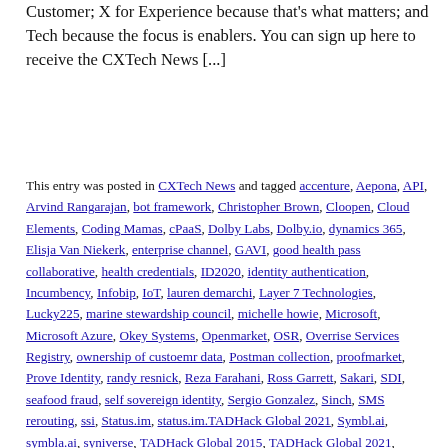Customer; X for Experience because that's what matters; and Tech because the focus is enablers. You can sign up here to receive the CXTech News [...]
This entry was posted in CXTech News and tagged accenture, Aepona, API, Arvind Rangarajan, bot framework, Christopher Brown, Cloopen, Cloud Elements, Coding Mamas, cPaaS, Dolby Labs, Dolby.io, dynamics 365, Elisja Van Niekerk, enterprise channel, GAVI, good health pass collaborative, health credentials, ID2020, identity authentication, Incumbency, Infobip, IoT, lauren demarchi, Layer 7 Technologies, Lucky225, marine stewardship council, michelle howie, Microsoft, Microsoft Azure, Okey Systems, Openmarket, OSR, Overrise Services Registry, ownership of custoemr data, Postman collection, proofmarket, Prove Identity, randy resnick, Reza Farahani, Ross Garrett, Sakari, SDI, seafood fraud, self sovereign identity, Sergio Gonzalez, Sinch, SMS rerouting, ssi, Status.im, status.im.TADHack Global 2021, Symbl.ai, symbla.ai, syniverse, TADHack Global 2015, TADHack Global 2021, TADSummit asia, tony rose, trust triangle, Twilio, UiPath,